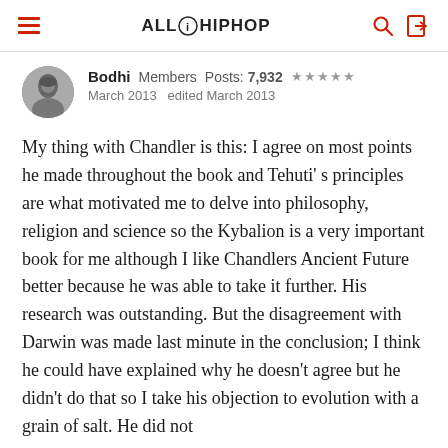AllHipHop
Bodhi  Members  Posts: 7,932  ★★★★★
March 2013  edited March 2013
My thing with Chandler is this: I agree on most points he made throughout the book and Tehuti' s principles are what motivated me to delve into philosophy, religion and science so the Kybalion is a very important book for me although I like Chandlers Ancient Future better because he was able to take it further. His research was outstanding. But the disagreement with Darwin was made last minute in the conclusion; I think he could have explained why he doesn't agree but he didn't do that so I take his objection to evolution with a grain of salt. He did not